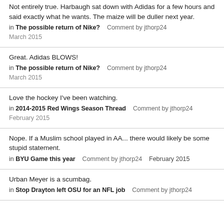Not entirely true. Harbaugh sat down with Adidas for a few hours and said exactly what he wants. The maize will be duller next year.
in The possible return of Nike?   Comment by jthorp24
March 2015
Great. Adidas BLOWS!
in The possible return of Nike?   Comment by jthorp24
March 2015
Love the hockey I've been watching.
in 2014-2015 Red Wings Season Thread   Comment by jthorp24
February 2015
Nope. If a Muslim school played in AA... there would likely be some stupid statement.
in BYU Game this year   Comment by jthorp24   February 2015
Urban Meyer is a scumbag.
in Stop Drayton left OSU for an NFL job   Comment by jthorp24